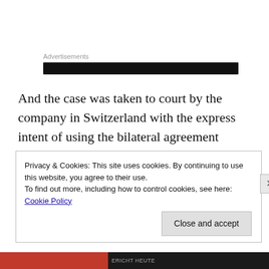Advertisements
And the case was taken to court by the company in Switzerland with the express intent of using the bilateral agreement between Switzerland and Uruguay to achieve its end.
Just as Uruguay was about to capitulate to the
Privacy & Cookies: This site uses cookies. By continuing to use this website, you agree to their use.
To find out more, including how to control cookies, see here: Cookie Policy
Close and accept